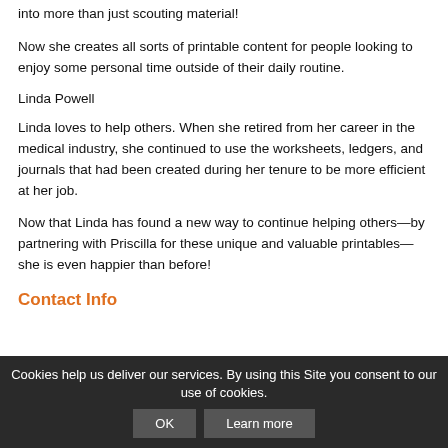into more than just scouting material!
Now she creates all sorts of printable content for people looking to enjoy some personal time outside of their daily routine.
Linda Powell
Linda loves to help others. When she retired from her career in the medical industry, she continued to use the worksheets, ledgers, and journals that had been created during her tenure to be more efficient at her job.
Now that Linda has found a new way to continue helping others—by partnering with Priscilla for these unique and valuable printables—she is even happier than before!
Contact Info
Cookies help us deliver our services. By using this Site you consent to our use of cookies.